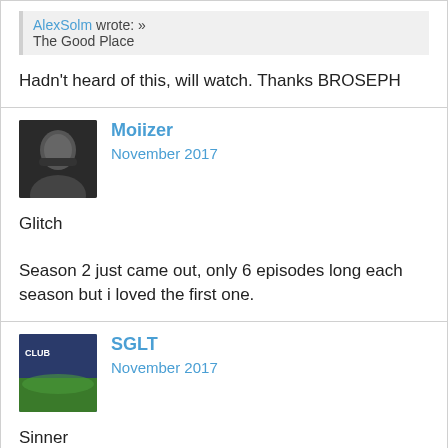AlexSolm wrote: »
The Good Place
Hadn't heard of this, will watch. Thanks BROSEPH
Moiizer
November 2017
Glitch
Season 2 just came out, only 6 episodes long each season but i loved the first one.
SGLT
November 2017
Sinner
KingLizard19